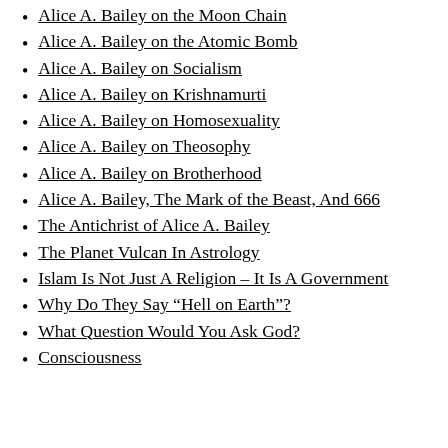Alice A. Bailey on the Moon Chain
Alice A. Bailey on the Atomic Bomb
Alice A. Bailey on Socialism
Alice A. Bailey on Krishnamurti
Alice A. Bailey on Homosexuality
Alice A. Bailey on Theosophy
Alice A. Bailey on Brotherhood
Alice A. Bailey, The Mark of the Beast, And 666
The Antichrist of Alice A. Bailey
The Planet Vulcan In Astrology
Islam Is Not Just A Religion – It Is A Government
Why Do They Say “Hell on Earth”?
What Question Would You Ask God?
Consciousness